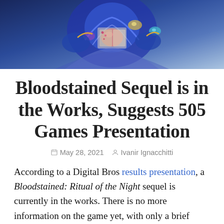[Figure (photo): Top portion of a game character illustration with blue/purple armor and stylized art style, cropped at the top of the page.]
Bloodstained Sequel is in the Works, Suggests 505 Games Presentation
May 28, 2021  Ivanir Ignacchitti
According to a Digital Bros results presentation, a Bloodstained: Ritual of the Night sequel is currently in the works. There is no more information on the game yet, with only a brief mention to a “second version in development” on page 25 of the document.
505 Games is a Digital Bros subsidiary that